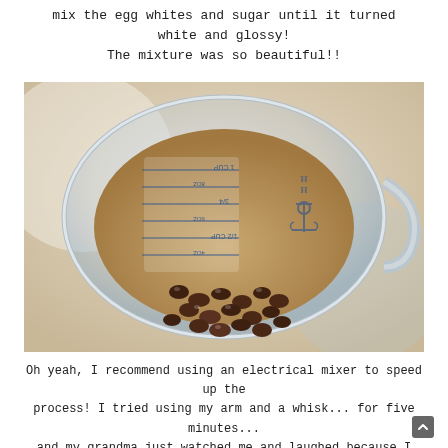mix the egg whites and sugar until it turned white and glossy! The mixture was so beautiful!!
[Figure (photo): A glass measuring cup viewed from above, containing chocolate chips. The cup has measurement markings including 1 CUP, 3/4, 1/2 CUP, and other measurements, along with an anchor logo brand mark.]
Oh yeah, I recommend using an electrical mixer to speed up the process! I tried using my arm and a whisk... for five minutes... and my grandma just watched me and laughed because I